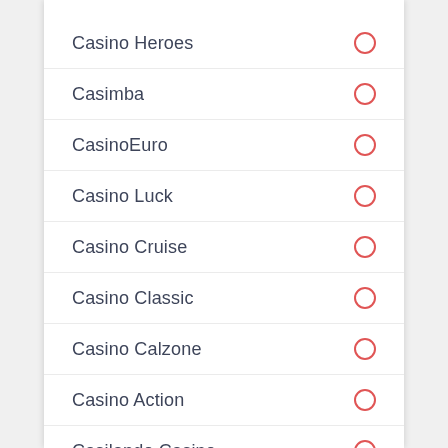Casino Heroes
Casimba
CasinoEuro
Casino Luck
Casino Cruise
Casino Classic
Casino Calzone
Casino Action
Casilando Casino